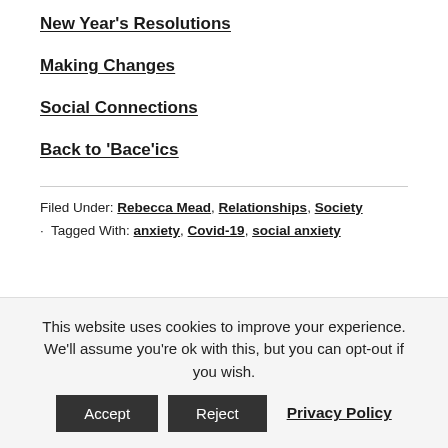New Year's Resolutions
Making Changes
Social Connections
Back to 'Bace'ics
Filed Under: Rebecca Mead, Relationships, Society · Tagged With: anxiety, Covid-19, social anxiety
This website uses cookies to improve your experience. We'll assume you're ok with this, but you can opt-out if you wish. Accept Reject Privacy Policy